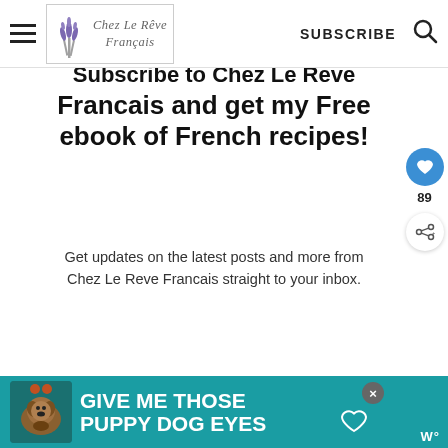Chez Le Reve Francais — SUBSCRIBE
Subscribe to Chez Le Reve Francais and get my Free ebook of French recipes!
Get updates on the latest posts and more from Chez Le Reve Francais straight to your inbox.
Your Email...
SUBSCRIBE
WHAT'S NEXT → Onion Tarte Tatin
I consent to receiving emails and personalized ads
[Figure (infographic): Advertisement banner: teal background with dog image, text 'GIVE ME THOSE PUPPY DOG EYES' with heart icon and close button]